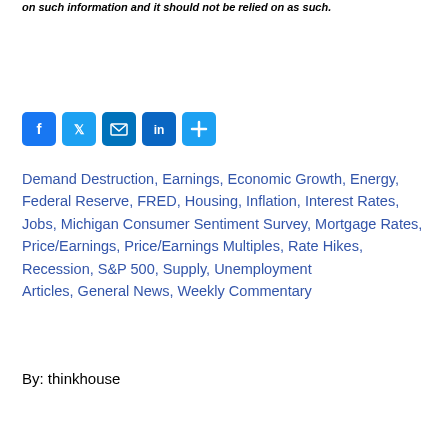on such information and it should not be relied on as such.
[Figure (infographic): Social media sharing icons: Facebook, Twitter, Email, LinkedIn, Share (plus)]
Demand Destruction, Earnings, Economic Growth, Energy, Federal Reserve, FRED, Housing, Inflation, Interest Rates, Jobs, Michigan Consumer Sentiment Survey, Mortgage Rates, Price/Earnings, Price/Earnings Multiples, Rate Hikes, Recession, S&P 500, Supply, Unemployment
Articles, General News, Weekly Commentary
By: thinkhouse